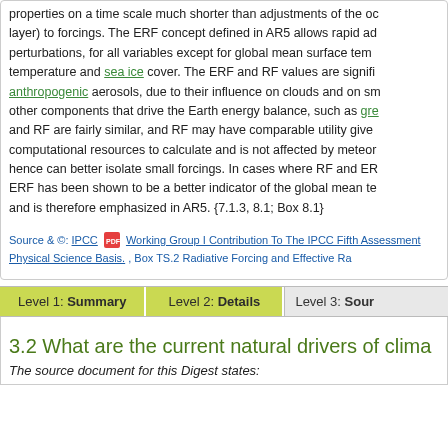properties on a time scale much shorter than adjustments of the ocean mixed layer) to forcings. The ERF concept defined in AR5 allows rapid ad... perturbations, for all variables except for global mean surface temp... temperature and sea ice cover. The ERF and RF values are signifi... anthropogenic aerosols, due to their influence on clouds and on sm... other components that drive the Earth energy balance, such as gre... and RF are fairly similar, and RF may have comparable utility give... computational resources to calculate and is not affected by meteor... hence can better isolate small forcings. In cases where RF and ER... ERF has been shown to be a better indicator of the global mean te... and is therefore emphasized in AR5. {7.1.3, 8.1; Box 8.1}
Source & ©: IPCC [PDF icon] Working Group I Contribution To The IPCC Fifth Assessment... Physical Science Basis. , Box TS.2 Radiative Forcing and Effective Ra...
Level 1: Summary | Level 2: Details | Level 3: Sour...
3.2 What are the current natural drivers of clim...
The source document for this Digest states: